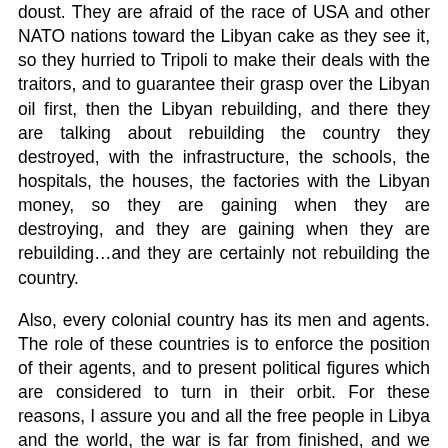doust. They are afraid of the race of USA and other NATO nations toward the Libyan cake as they see it, so they hurried to Tripoli to make their deals with the traitors, and to guarantee their grasp over the Libyan oil first, then the Libyan rebuilding, and there they are talking about rebuilding the country they destroyed, with the infrastructure, the schools, the hospitals, the houses, the factories with the Libyan money, so they are gaining when they are destroying, and they are gaining when they are rebuilding…and they are certainly not rebuilding the country.
Also, every colonial country has its men and agents. The role of these countries is to enforce the position of their agents, and to present political figures which are considered to turn in their orbit. For these reasons, I assure you and all the free people in Libya and the world, the war is far from finished, and we are still able to resist and win. I know what I am talking about and I know why we will win. I am asking all the honourable people of Tripoli to make a civil disobedience and stop going to their works, in order to delay hugely this project whose goal is to remove the independence and identity of Libya for years. This negative resistance, and civil disobedience will help our fighters